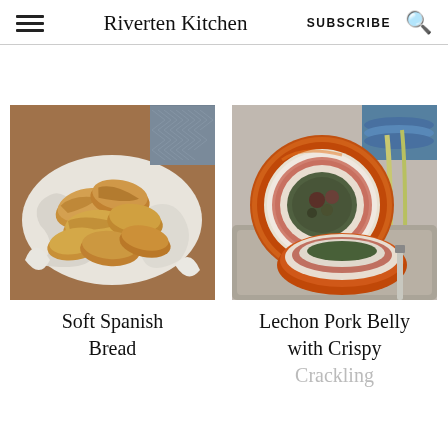Riverten Kitchen | SUBSCRIBE
[Figure (photo): Basket of soft Spanish bread rolls arranged on a white cloth napkin with a herringbone fabric in the background]
[Figure (photo): Sliced lechon pork belly roll with crispy crackling skin, showing spiral stuffing of greens and pork, served on a tray with plates and lemongrass in the background]
Soft Spanish Bread
Lechon Pork Belly with Crispy Crackling